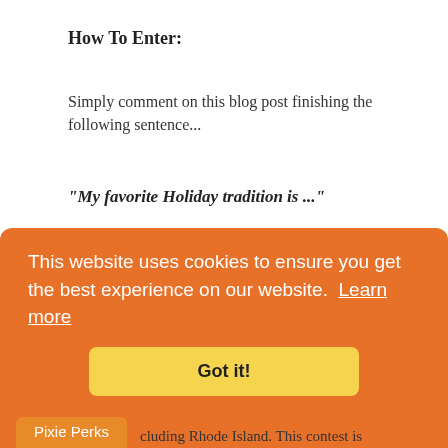How To Enter:
Simply comment on this blog post finishing the following sentence...
“My favorite Holiday tradition is ...”
Comments must be left (on this blog post) by midnight (pacific) on Sunday, 12/25/2017.
One entry per person.
This website uses cookies to ensure you get the best experience on our website.  Learn more
Got it!
Pixie Perks
cluding Rhode Island. This contest is